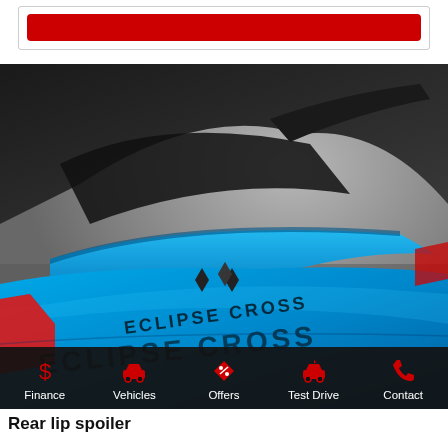[Figure (other): Red button/CTA banner at the top of a dealership webpage]
[Figure (photo): Close-up rear view of a Mitsubishi Eclipse Cross in vivid blue, showing the rear spoiler, Mitsubishi logo badge, and ECLIPSE CROSS lettering on the trunk lid]
Finance | Vehicles | Offers | Test Drive | Contact
Rear lip spoiler